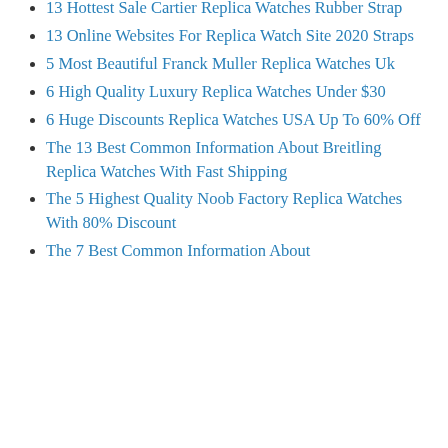13 Hottest Sale Cartier Replica Watches Rubber Strap
13 Online Websites For Replica Watch Site 2020 Straps
5 Most Beautiful Franck Muller Replica Watches Uk
6 High Quality Luxury Replica Watches Under $30
6 Huge Discounts Replica Watches USA Up To 60% Off
The 13 Best Common Information About Breitling Replica Watches With Fast Shipping
The 5 Highest Quality Noob Factory Replica Watches With 80% Discount
The 7 Best Common Information About